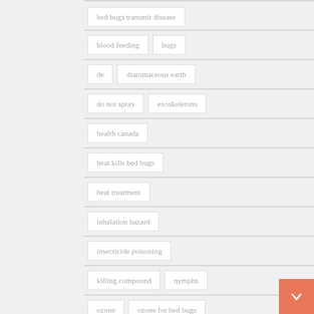bed bugs transmit disease
blood feeding
bugs
de
diatomaceous earth
do not spray
exoskeletons
health canada
heat kills bed bugs
heat treatment
inhalation hazard
insecticide poisoning
killing compound
nymphs
ozone
ozone for bed bugs
ozone gas
pesticide
proper application